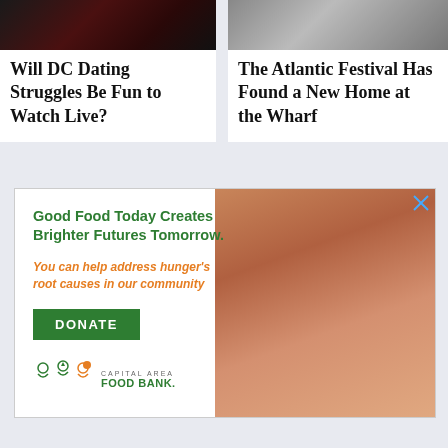[Figure (photo): Dark stage photo, partial view of performers]
Will DC Dating Struggles Be Fun to Watch Live?
[Figure (photo): Person near athletic equipment, partial view]
The Atlantic Festival Has Found a New Home at the Wharf
[Figure (photo): Capital Area Food Bank advertisement showing a woman and child. Text: Good Food Today Creates Brighter Futures Tomorrow. You can help address hunger's root causes in our community. DONATE button. Capital Area Food Bank logo.]
Good Food Today Creates Brighter Futures Tomorrow.
You can help address hunger's root causes in our community
DONATE
CAPITAL AREA FOOD BANK.